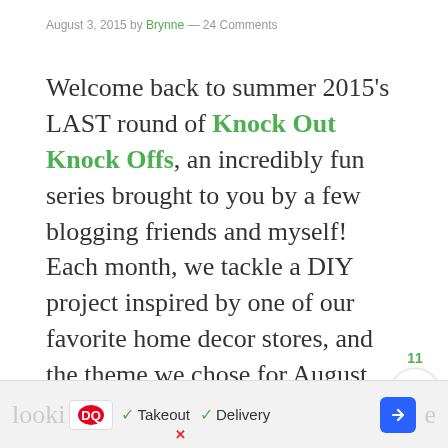August 3, 2015 by Brynne — 24 Comments
Welcome back to summer 2015's LAST round of Knock Out Knock Offs, an incredibly fun series brought to you by a few blogging friends and myself! Each month, we tackle a DIY project inspired by one of our favorite home decor stores, and the theme we chose for August was Crate & Barrel. (Don't forget to catch up on my Anthropologie, Land of Nod, CB2 inspired projects too!)
Scrolling through the Crate & Barrel website lookin...